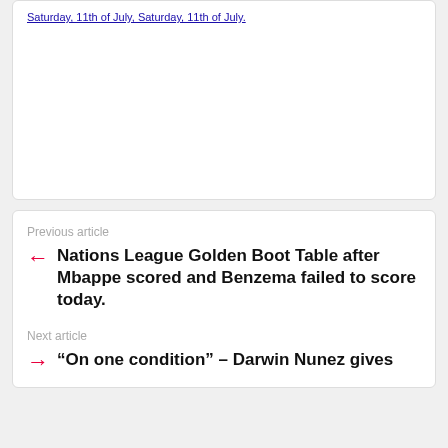Saturday, 11th of July, Saturday, 11th of July.
Previous article
Nations League Golden Boot Table after Mbappe scored and Benzema failed to score today.
Next article
“On one condition” – Darwin Nunez gives